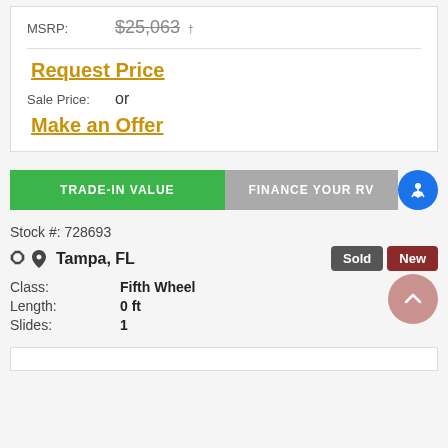MSRP: $25,063 †
Request Price
Sale Price: or
Make an Offer
TRADE-IN VALUE
FINANCE YOUR RV
Stock #: 728693
Tampa, FL
Sold  New
Class: Fifth Wheel
Length: 0 ft
Slides: 1